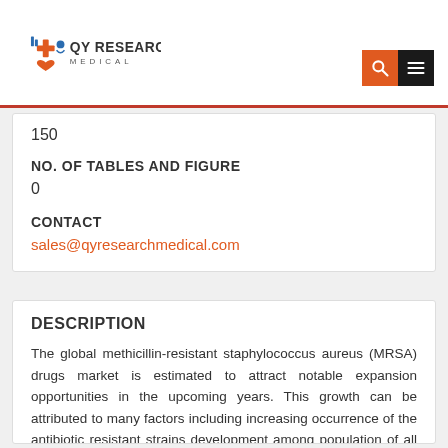QY Research Medical
150
NO. OF TABLES AND FIGURE
0
CONTACT
sales@qyresearchmedical.com
DESCRIPTION
The global methicillin-resistant staphylococcus aureus (MRSA) drugs market is estimated to attract notable expansion opportunities in the upcoming years. This growth can be attributed to many factors including increasing occurrence of the antibiotic resistant strains development among population of all age groups.